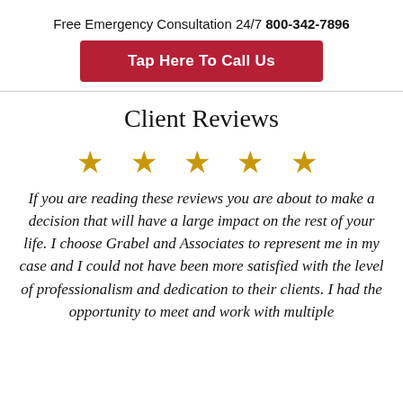Free Emergency Consultation 24/7 800-342-7896
Tap Here To Call Us
Client Reviews
[Figure (other): Five gold star rating icons]
If you are reading these reviews you are about to make a decision that will have a large impact on the rest of your life. I choose Grabel and Associates to represent me in my case and I could not have been more satisfied with the level of professionalism and dedication to their clients. I had the opportunity to meet and work with multiple